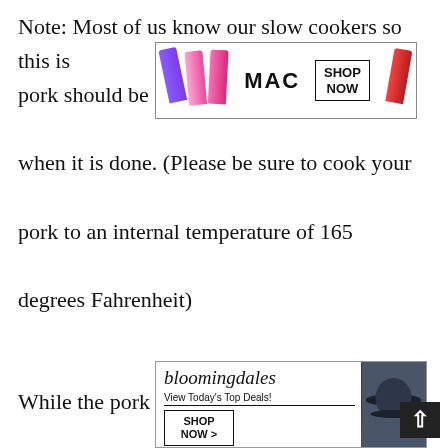Note: Most of us know our slow cookers so this is [AD] pork should be super easy to cut with a fork when it is done. (Please be sure to cook your pork to an internal temperature of 165 degrees Fahrenheit)
[Figure (other): MAC cosmetics advertisement showing lipsticks in purple, pink, and red with MAC logo and SHOP NOW button]
While the pork is finishing up, cook your rice. I have used both microwave rice packets or white instant rice on the stove. Smothered pork is also good served with a dinne[r]
[Figure (other): Bloomingdale's advertisement with woman in hat, 'View Today's Top Deals!' tagline and SHOP NOW button, with CLOSE button]